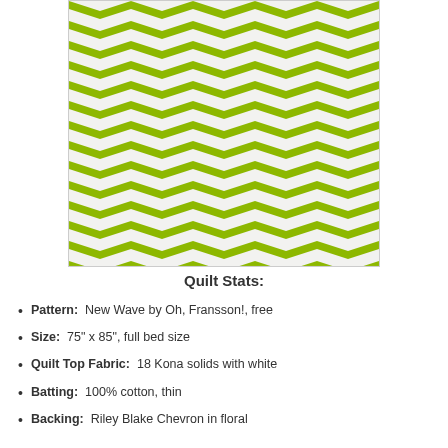[Figure (photo): Close-up photo of a quilt with a chevron (zigzag) pattern in lime green and white stripes.]
Quilt Stats:
Pattern:  New Wave by Oh, Fransson!, free
Size:  75" x 85", full bed size
Quilt Top Fabric:  18 Kona solids with white
Batting:  100% cotton, thin
Backing:  Riley Blake Chevron in floral